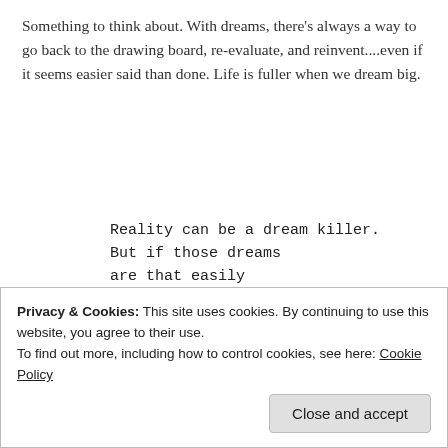Something to think about. With dreams, there's always a way to go back to the drawing board, re-evaluate, and reinvent....even if it seems easier said than done. Life is fuller when we dream big.
Reality can be a dream killer.
But if those dreams
are that easily
killed,
maybe they weren't
that strong
to
begin
with?
Privacy & Cookies: This site uses cookies. By continuing to use this website, you agree to their use.
To find out more, including how to control cookies, see here: Cookie Policy